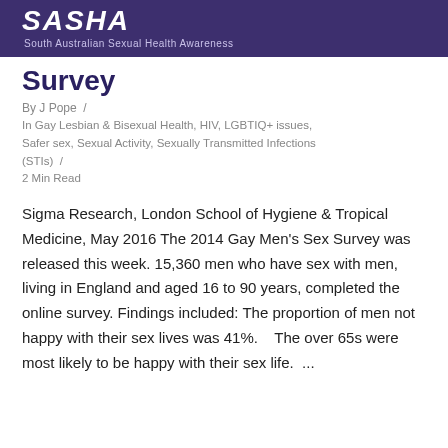SASHA — South Australian Sexual Health Awareness
Survey
By J Pope  /
In Gay Lesbian & Bisexual Health, HIV, LGBTIQ+ issues, Safer sex, Sexual Activity, Sexually Transmitted Infections (STIs)  /
2 Min Read
Sigma Research, London School of Hygiene & Tropical Medicine, May 2016 The 2014 Gay Men's Sex Survey was released this week. 15,360 men who have sex with men, living in England and aged 16 to 90 years, completed the online survey. Findings included: The proportion of men not happy with their sex lives was 41%.   The over 65s were most likely to be happy with their sex life.  ...